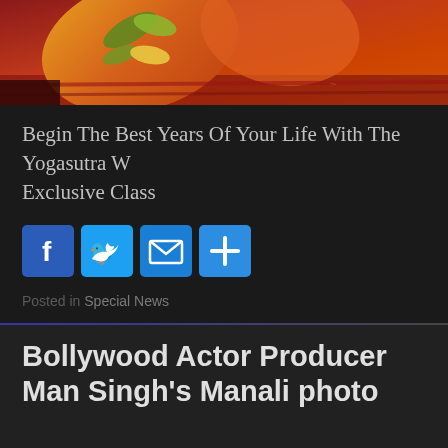[Figure (photo): Colorful decorative pillows or cushions with floral/leaf patterns on a red background, partially cropped at top of page]
Begin The Best Years Of Your Life With The Yogasutra W... Exclusive Class
[Figure (infographic): Row of four social sharing buttons: Facebook (f), Twitter (bird), Email (envelope), More (+)]
Posted in Special News
Bollywood Actor Producer Man Singh's Manali photo... the Netizens on social media
about a year ago  admin